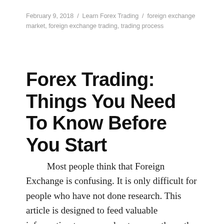February 9, 2018 / Learn Forex Trading / foreign exchange market, foreign exchange trading, trading process
Forex Trading: Things You Need To Know Before You Start
Most people think that Foreign Exchange is confusing. It is only difficult for people who have not done research. This article is designed to feed valuable information to you, and put you on the path to successful foreign exchange trading.